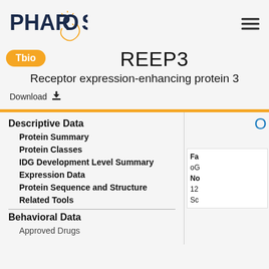PHAROS
REEP3
Receptor expression-enhancing protein 3
Download
Descriptive Data
Protein Summary
Protein Classes
IDG Development Level Summary
Expression Data
Protein Sequence and Structure
Related Tools
Behavioral Data
Approved Drugs
Fa
oG
No
12
Sc